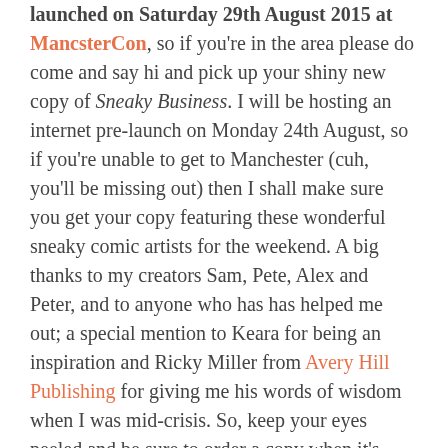launched on Saturday 29th August 2015 at MancsterCon, so if you're in the area please do come and say hi and pick up your shiny new copy of Sneaky Business. I will be hosting an internet pre-launch on Monday 24th August, so if you're unable to get to Manchester (cuh, you'll be missing out) then I shall make sure you get your copy featuring these wonderful sneaky comic artists for the weekend. A big thanks to my creators Sam, Pete, Alex and Peter, and to anyone who has has helped me out; a special mention to Keara for being an inspiration and Ricky Miller from Avery Hill Publishing for giving me his words of wisdom when I was mid-crisis. So, keep your eyes peeled and be sure to order a copy when it's released! Because it's awesome.
In other news, I've been clocking up the hours at the ol' desk producing this Top Secret project that's due in